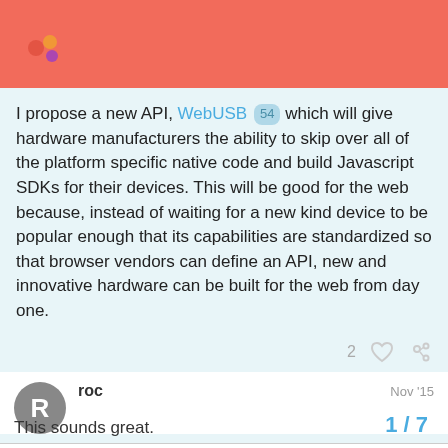I propose a new API, WebUSB 54 which will give hardware manufacturers the ability to skip over all of the platform specific native code and build Javascript SDKs for their devices. This will be good for the web because, instead of waiting for a new kind device to be popular enough that its capabilities are standardized so that browser vendors can define an API, new and innovative hardware can be built for the web from day one.
created Nov '15 | last reply Jan '16 | 6 replies
roc  Nov '15
This sounds great.
1 / 7